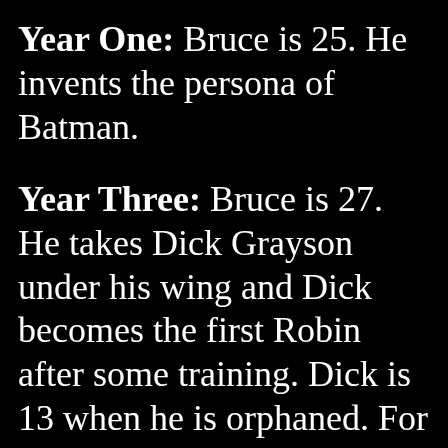Year One: Bruce is 25. He invents the persona of Batman.
Year Three: Bruce is 27. He takes Dick Grayson under his wing and Dick becomes the first Robin after some training. Dick is 13 when he is orphaned. For the next five years they are the Dynamic Duo of Gotham; meanwhile, Dick co-founds the Teen Titans with other costumed